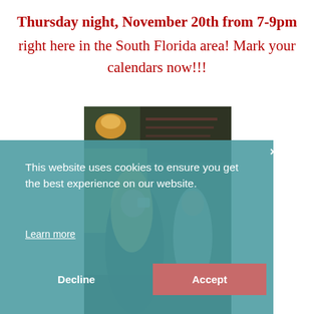Thursday night, November 20th from 7-9pm right here in the South Florida area! Mark your calendars now!!!
[Figure (photo): Photo of two women in a café, one with blonde hair drinking from a cup, another in the background, with a chalkboard menu on the wall and warm lighting.]
This website uses cookies to ensure you get the best experience on our website.
Learn more
Decline
Accept